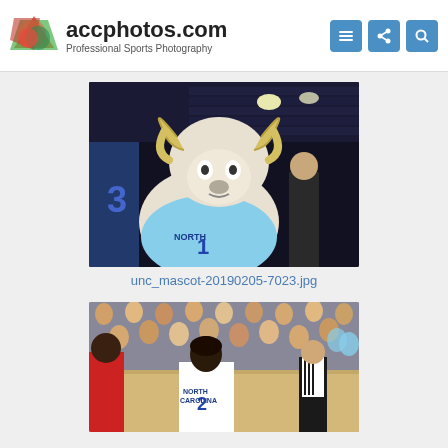accphotos.com — Professional Sports Photography
[Figure (photo): UNC mascot (ram in light blue jersey #1) posing in a basketball arena with crowd seating visible in background]
unc_mascot-20190205-7023.jpg
[Figure (photo): UNC basketball player #2 in white North Carolina uniform running on court with referee and crowd in background, opponent in red jersey visible]